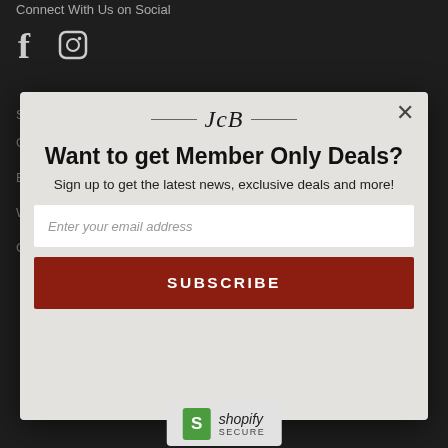Connect With Us on Social
[Figure (illustration): Facebook and Instagram social media icons in light gray on dark background]
Shop All GiftsJackson Hole
Gift Baskets
Books & Puzzles
Weddings & Events
Custom Gifts
[Figure (infographic): Email subscription modal popup with JB scripted logo, title 'Want to get Member Only Deals?', subtitle 'Sign up to get the latest news, exclusive deals and more!', email input field, and red SUBSCRIBE button. Close X button top right.]
[Figure (logo): Shopify Secure badge with green S logo]